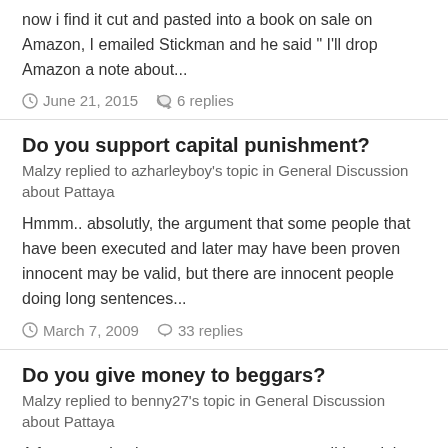now i find it cut and pasted into a book on sale on Amazon, I emailed Stickman and he said " I'll drop Amazon a note about...
June 21, 2015   6 replies
Do you support capital punishment?
Malzy replied to azharleyboy's topic in General Discussion about Pattaya
Hmmm.. absolutly, the argument that some people that have been executed and later may have been proven innocent may be valid, but there are innocent people doing long sentences...
March 7, 2009   33 replies
Do you give money to beggars?
Malzy replied to benny27's topic in General Discussion about Pattaya
A few years back, a mate an me saw a small boy sitting in the